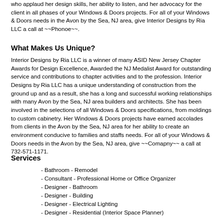who applaud her design skills, her ability to listen, and her advocacy for the client in all phases of your Windows & Doors projects. For all of your Windows & Doors needs in the Avon by the Sea, NJ area, give Interior Designs by Ria LLC a call at ~~Phonoe~~.
What Makes Us Unique?
Interior Designs by Ria LLC is a winner of many ASID New Jersey Chapter Awards for Design Excellence, Awarded the NJ Medalist Award for outstanding service and contributions to chapter activities and to the profession. Interior Designs by Ria LLC has a unique understanding of construction from the ground up and as a result, she has a long and successful working relationships with many Avon by the Sea, NJ area builders and architects. She has been involved in the selections of all Windows & Doors specifications, from moldings to custom cabinetry. Her Windows & Doors projects have earned accolades from clients in the Avon by the Sea, NJ area for her ability to create an environment conducive to families and staffs needs. For all of your Windows & Doors needs in the Avon by the Sea, NJ area, give ~~Comapny~~ a call at 732-571-1171.
Services
- Bathroom - Remodel
- Consultant - Professional Home or Office Organizer
- Designer - Bathroom
- Designer - Building
- Designer - Electrical Lighting
- Designer - Residential (Interior Space Planner)